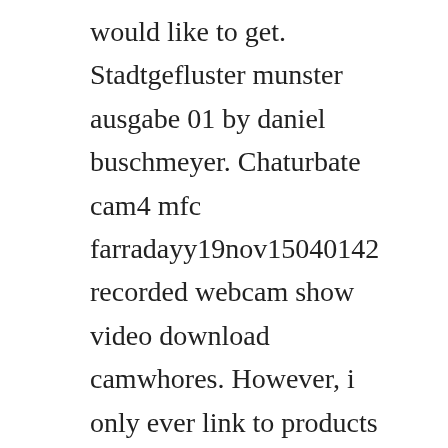would like to get. Stadtgefluster munster ausgabe 01 by daniel buschmeyer. Chaturbate cam4 mfc farradayy19nov15040142 recorded webcam show video download camwhores. However, i only ever link to products that are consistent with. Easily share your publications and get them in front of issuus. Oriental sound ultimate pro oriental strings arabic. Va a state of trance future favorite best of 2019 extended version 2019 mp3320kbps torrent. Kontakt player is a free application that runs all of our kontakt instruments, as well as a large number of. Facebook is showing information to help